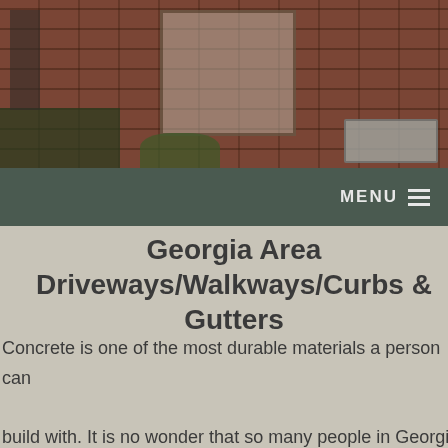[Figure (photo): Photo of a brick building exterior with windows, shutters, vegetation, and an HVAC unit]
MENU ≡
Georgia Area Driveways/Walkways/Curbs & Gutters
Concrete is one of the most durable materials a person can build with. It is no wonder that so many people in Georgia Area choose to have many of their construction projects performed with concrete as the primary material.

Here at Cutting Edge Concrete, we didn't get into the